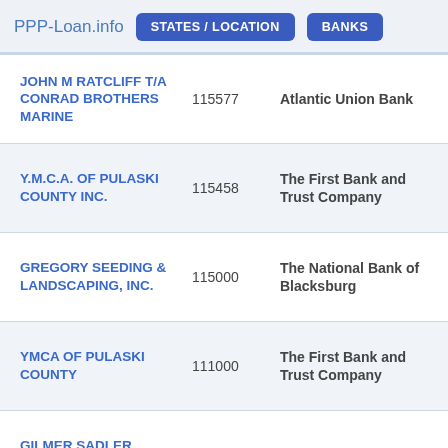PPP-Loan.info  STATES / LOCATION  BANKS
| Business Name | Amount | Bank |
| --- | --- | --- |
| JOHN M RATCLIFF T/A CONRAD BROTHERS MARINE | 115577 | Atlantic Union Bank |
| Y.M.C.A. OF PULASKI COUNTY INC. | 115458 | The First Bank and Trust Company |
| GREGORY SEEDING & LANDSCAPING, INC. | 115000 | The National Bank of Blacksburg |
| YMCA OF PULASKI COUNTY | 111000 | The First Bank and Trust Company |
| GILMER SADLER INGRAM | 94880 | The National Bank of |